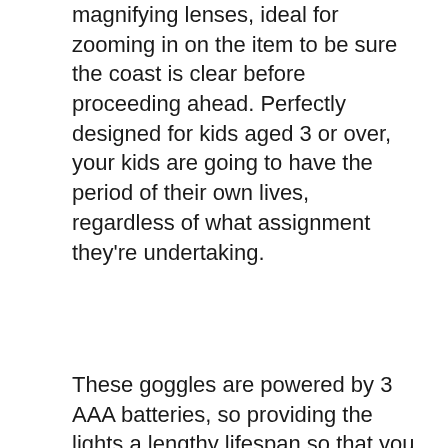magnifying lenses, ideal for zooming in on the item to be sure the coast is clear before proceeding ahead. Perfectly designed for kids aged 3 or over, your kids are going to have the period of their own lives, regardless of what assignment they’re undertaking.
These goggles are powered by 3 AAA batteries, so providing the lights a lengthy lifespan so that you may be certain they will not turn off at the very important moment.
4. MukikiM SpyX / Micro Gear Set
[Figure (photo): Product photo of MukikiM SpyX Micro Gear Set showing a spy device with motion blur effect and a black strap/harness component]